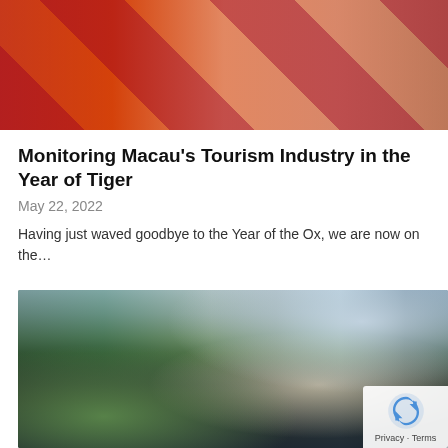[Figure (photo): Photo of people in red traditional Chinese New Year clothing distributing items, with crowd in background]
Monitoring Macau's Tourism Industry in the Year of Tiger
May 22, 2022
Having just waved goodbye to the Year of the Ox, we are now on the…
[Figure (photo): Group photo of professionals standing in front of a decorative Portuguese tile mural featuring a golden dragon, outdoors with trees and buildings in background]